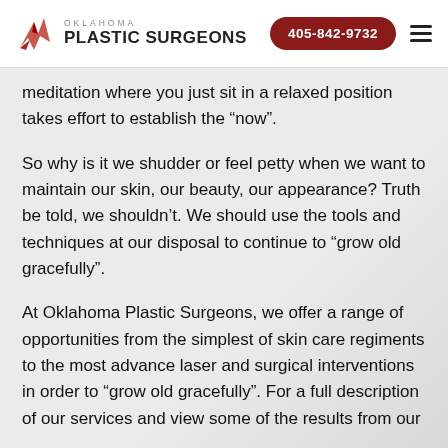Oklahoma Plastic Surgeons | 405-842-9732
meditation where you just sit in a relaxed position takes effort to establish the “now”.
So why is it we shudder or feel petty when we want to maintain our skin, our beauty, our appearance? Truth be told, we shouldn’t. We should use the tools and techniques at our disposal to continue to “grow old gracefully”.
At Oklahoma Plastic Surgeons, we offer a range of opportunities from the simplest of skin care regiments to the most advance laser and surgical interventions in order to “grow old gracefully”. For a full description of our services and view some of the results from our